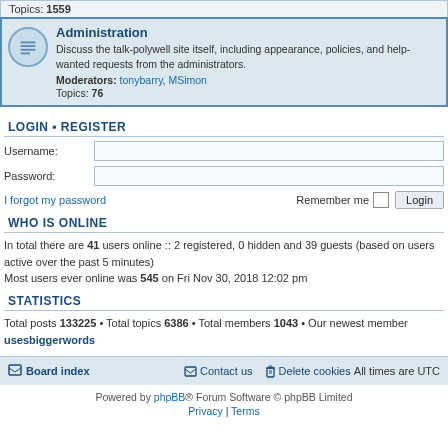Topics: 1559
Administration
Discuss the talk-polywell site itself, including appearance, policies, and help-wanted requests from the administrators.
Moderators: tonybarry, MSimon
Topics: 76
LOGIN • REGISTER
Username:
Password:
I forgot my password
Remember me  Login
WHO IS ONLINE
In total there are 41 users online :: 2 registered, 0 hidden and 39 guests (based on users active over the past 5 minutes)
Most users ever online was 545 on Fri Nov 30, 2018 12:02 pm
STATISTICS
Total posts 133225 • Total topics 6386 • Total members 1043 • Our newest member usesbiggerwords
Board index  Contact us  Delete cookies  All times are UTC
Powered by phpBB® Forum Software © phpBB Limited
Privacy | Terms